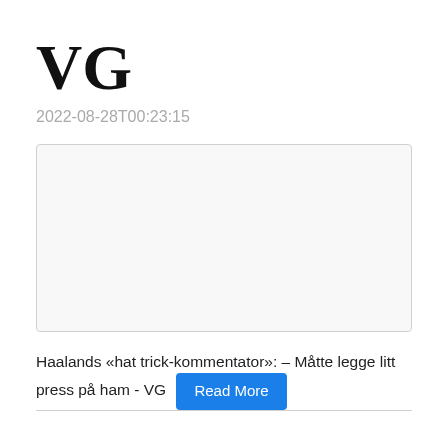VG
2022-08-28T00:23:15
[Figure (photo): Empty image placeholder box with light gray background and border]
Haalands «hat trick-kommentator»: – Måtte legge litt press på ham - VG
Read More